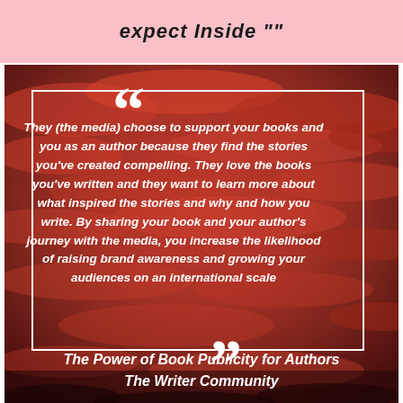expect Inside
[Figure (photo): Red dramatic cloudy sky background with white quote box overlay, large quotation marks, italic bold white text quote about media supporting authors, and attribution text at bottom.]
They (the media) choose to support your books and you as an author because they find the stories you've created compelling. They love the books you've written and they want to learn more about what inspired the stories and why and how you write. By sharing your book and your author's journey with the media, you increase the likelihood of raising brand awareness and growing your audiences on an international scale
The Power of Book Publicity for Authors The Writer Community